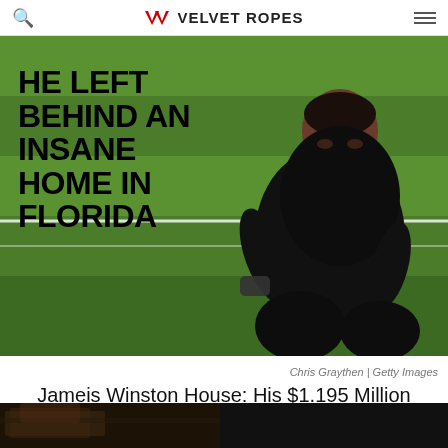VELVET ROPES
[Figure (photo): NFL quarterback wearing a black New Orleans Saints jersey kneeling on a football field with green grass background. Bold black text overlay reads: HE LEFT BEHIND AN INSANE HOME IN FLORIDA]
Chris Graythen | Getty Images
Jameis Winston House: His $1.195 Million Florida Mansion + Details of His Move to New Orleans, Revealed!
[Figure (photo): Bottom strip showing partial image of a building/mansion, dark reddish-brown tones]